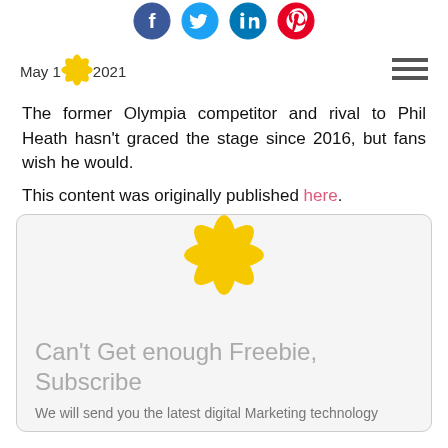[Figure (other): Row of social media share icons: Facebook (blue), Twitter (blue), LinkedIn (blue), Pinterest (red)]
May 15, 2021
[Figure (logo): Small yellow flower/snowflake logo]
[Figure (other): Hamburger menu icon (three horizontal lines)]
The former Olympia competitor and rival to Phil Heath hasn't graced the stage since 2016, but fans wish he would.
This content was originally published here.
[Figure (logo): Large yellow flower/snowflake logo centered above subscribe box]
Can't Get enough Freebie, Subscribe
We will send you the latest digital Marketing technology